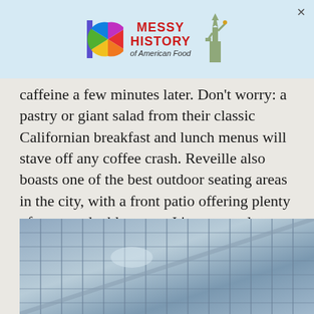[Figure (screenshot): Advertisement banner for 'Messy History of American Food' featuring a colorful IO logo, red text headline, and Statue of Liberty graphic on a light blue background]
caffeine a few minutes later. Don't worry: a pastry or giant salad from their classic Californian breakfast and lunch menus will stave off any coffee crash. Reveille also boasts one of the best outdoor seating areas in the city, with a front patio offering plenty of seats and table space. It's a great place to work, indoors or outdoors, but make sure to show up with a fully charged laptop, since Reveille has no outlets.
[Figure (photo): Interior architectural photo showing a glass-and-metal grid ceiling or wall structure with diagonal framing, rendered in blue-grey tones]